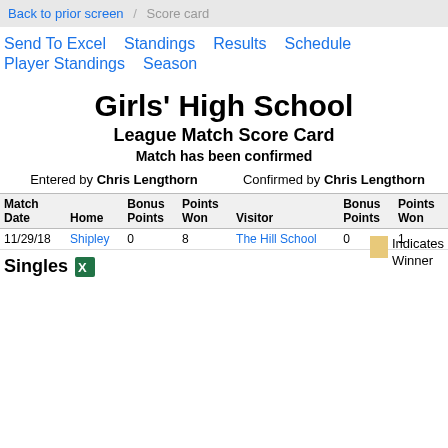Back to prior screen / Score card
Send To Excel   Standings   Results   Schedule
Player Standings   Season
Girls' High School
League Match Score Card
Match has been confirmed
Entered by Chris Lengthorn   Confirmed by Chris Lengthorn
| Match Date | Home | Bonus Points | Points Won | Visitor | Bonus Points | Points Won |
| --- | --- | --- | --- | --- | --- | --- |
| 11/29/18 | Shipley | 0 | 8 | The Hill School | 0 | 1 |
Singles
Indicates Winner